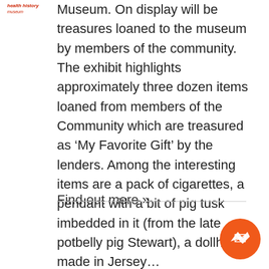[Figure (logo): Small red italic logo text in top left corner]
Museum. On display will be treasures loaned to the museum by members of the community. The exhibit highlights approximately three dozen items loaned from members of the Community which are treasured as ‘My Favorite Gift’ by the lenders. Among the interesting items are a pack of cigarettes, a pendant with a bit of pig tusk imbedded in it (from the late potbelly pig Stewart), a dollhouse made in Jersey…
Find out more »